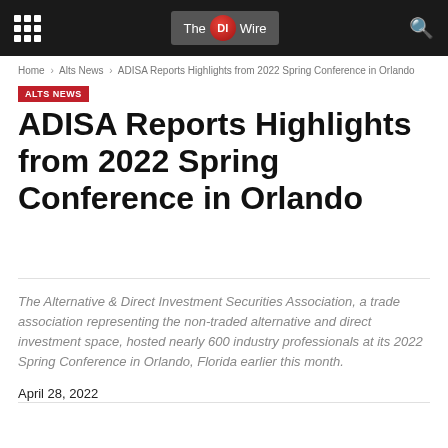The DI Wire
Home › Alts News › ADISA Reports Highlights from 2022 Spring Conference in Orlando
ALTS NEWS
ADISA Reports Highlights from 2022 Spring Conference in Orlando
The Alternative & Direct Investment Securities Association, a trade association representing the non-traded alternative and direct investment space, hosted nearly 600 industry professionals at its 2022 Spring Conference in Orlando, Florida earlier this month.
April 28, 2022